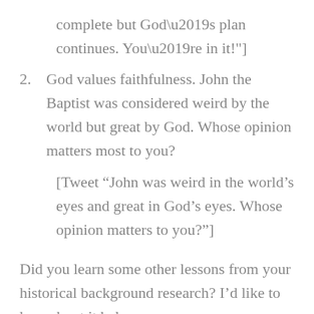complete but God’s plan continues. You’re in it!"]
2. God values faithfulness. John the Baptist was considered weird by the world but great by God. Whose opinion matters most to you?
[Tweet “John was weird in the world’s eyes and great in God’s eyes. Whose opinion matters to you?"]
Did you learn some other lessons from your historical background research? I’d like to hear about it below.